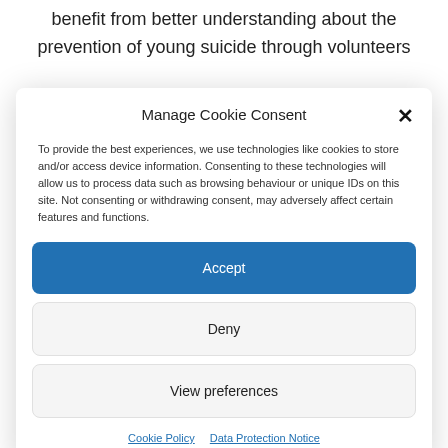benefit from better understanding about the prevention of young suicide through volunteers
Manage Cookie Consent
To provide the best experiences, we use technologies like cookies to store and/or access device information. Consenting to these technologies will allow us to process data such as browsing behaviour or unique IDs on this site. Not consenting or withdrawing consent, may adversely affect certain features and functions.
Accept
Deny
View preferences
Cookie Policy   Data Protection Notice